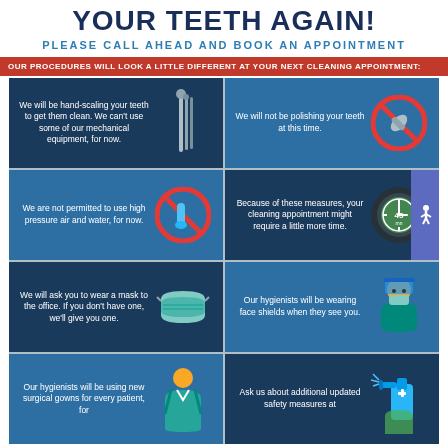YOUR TEETH AGAIN!
PLEASE CALL AHEAD AND BOOK AN APPOINTMENT
OUR PROCEDURES WILL LOOK A LITTLE DIFFERENT AT YOUR NEXT CLEANING APPOINTMENT:
[Figure (infographic): 2x4 grid of dental procedure infographic panels with icons and text describing COVID-era dental appointment procedures]
We will be hand-scaling your teeth to get them clean. We can't use some of our mechanical equipment, for now.
We will not be polishing your teeth at this time.
We are not permitted to use high pressure air and water, for now.
Because of these measures, your cleaning appointment might require a little more time.
We will ask you to wear a mask to the office. If you don't have one, we'll give you one.
Our hygienists will be wearing face shields when they see you.
Our hygienists will be using new surgical gowns for every patient, for
Ask us about additional updated safety measures at